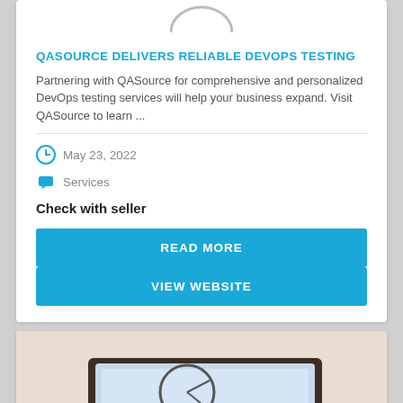[Figure (logo): Partial circular logo/icon visible at top of card]
QASOURCE DELIVERS RELIABLE DEVOPS TESTING
Partnering with QASource for comprehensive and personalized DevOps testing services will help your business expand. Visit QASource to learn ...
May 23, 2022
Services
Check with seller
READ MORE
VIEW WEBSITE
[Figure (photo): Partial photo of a tablet/device showing analytics or charts, on a desk surface]